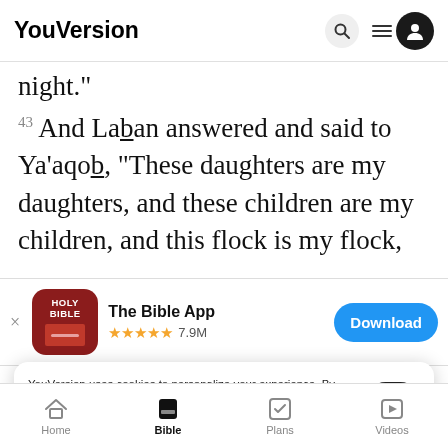YouVersion
night."
43 And Laban answered and said to Ya'aqob, "These daughters are my daughters, and these children are my children, and this flock is my flock,
[Figure (screenshot): App store banner for The Bible App - Holy Bible icon, 5 stars, 7.9M ratings, Download button]
V they have borne?
44 An and it shall be a witness between you and
YouVersion uses cookies to personalize your experience. By using our website, you accept our use of cookies as described in our Privacy Policy.
Home | Bible | Plans | Videos